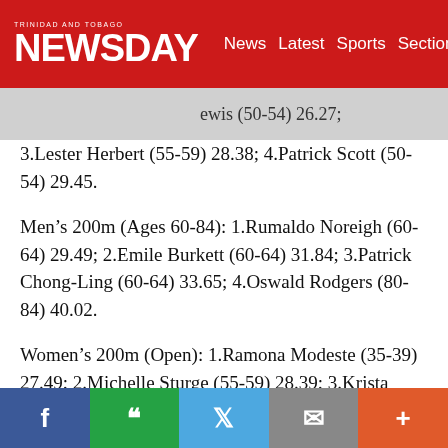TRINIDAD AND TOBAGO NEWSDAY — News  Latest  Sports  Sections
...ewis (50-54) 26.27; 3.Lester Herbert (55-59) 28.38; 4.Patrick Scott (50-54) 29.45.
Men's 200m (Ages 60-84): 1.Rumaldo Noreigh (60-64) 29.49; 2.Emile Burkett (60-64) 31.84; 3.Patrick Chong-Ling (60-64) 33.65; 4.Oswald Rodgers (80-84) 40.02.
Women's 200m (Open): 1.Ramona Modeste (35-39) 27.49; 2.Michelle Sturge (55-59) 28.39; 3.Krista Francis-Raymah (55-59) 33.24; 4.Nicole Alleyne-Noreigh (45-49) 35.07; 5.Irma Thomas (70-74) 4.13.07...
Facebook  WhatsApp  Twitter  Email  More